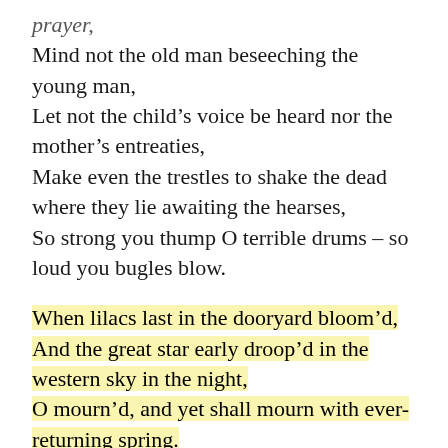prayer,
Mind not the old man beseeching the young man,
Let not the child's voice be heard nor the mother's entreaties,
Make even the trestles to shake the dead where they lie awaiting the hearses,
So strong you thump O terrible drums – so loud you bugles blow.
When lilacs last in the dooryard bloom'd,
And the great star early droop'd in the western sky in the night,
O mourn'd, and yet shall mourn with ever-returning spring.
Ever-returning spring, trinity sure to me you bring,